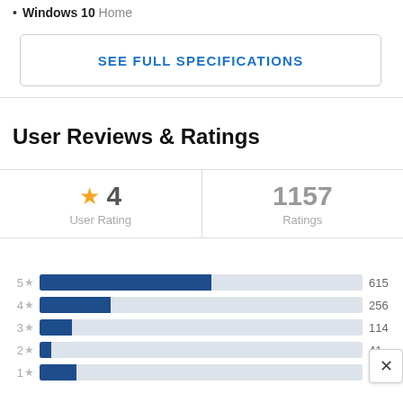Windows 10 Home
SEE FULL SPECIFICATIONS
User Reviews & Ratings
[Figure (infographic): Rating summary: star icon with 4 User Rating and 1157 Ratings]
[Figure (bar-chart): Ratings distribution]